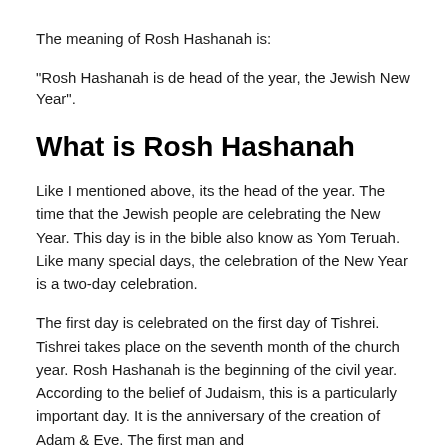The meaning of Rosh Hashanah is:
"Rosh Hashanah is de head of the year, the Jewish New Year".
What is Rosh Hashanah
Like I mentioned above, its the head of the year. The time that the Jewish people are celebrating the New Year. This day is in the bible also know as Yom Teruah. Like many special days, the celebration of the New Year is a two-day celebration.
The first day is celebrated on the first day of Tishrei. Tishrei takes place on the seventh month of the church year. Rosh Hashanah is the beginning of the civil year. According to the belief of Judaism, this is a particularly important day. It is the anniversary of the creation of Adam & Eve. The first man and